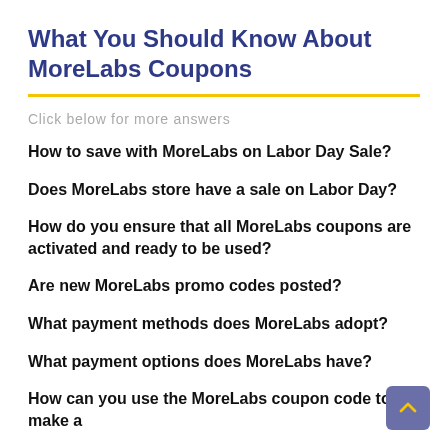What You Should Know About MoreLabs Coupons
Click below for more answers
How to save with MoreLabs on Labor Day Sale?
Does MoreLabs store have a sale on Labor Day?
How do you ensure that all MoreLabs coupons are activated and ready to be used?
Are new MoreLabs promo codes posted?
What payment methods does MoreLabs adopt?
What payment options does MoreLabs have?
How can you use the MoreLabs coupon code to make a